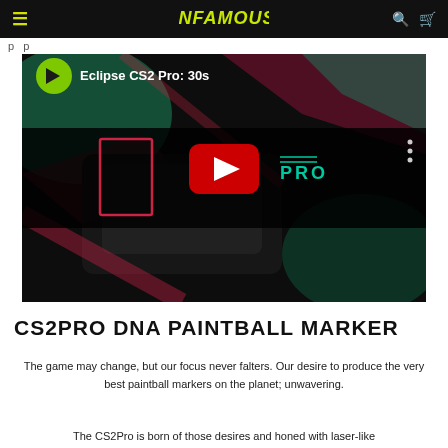INFAMOUS (logo navigation bar)
p p
[Figure (screenshot): YouTube video thumbnail for 'Eclipse CS2 Pro: 30s' showing a paintball marker on a colorful background with a YouTube play button in the center and the Eclipse channel logo at top left]
CS2PRO DNA PAINTBALL MARKER
The game may change, but our focus never falters. Our desire to produce the very best paintball markers on the planet; unwavering.
The CS2Pro is born of those desires and honed with laser-like